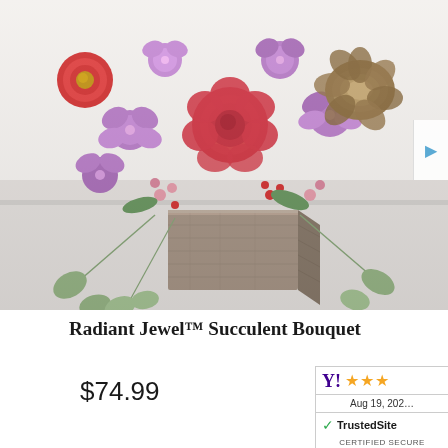[Figure (photo): Radiant Jewel Succulent Bouquet: floral arrangement with red roses, purple alstroemeria, red mums, succulents, and eucalyptus in a rustic wooden square box vase on a white surface]
Radiant Jewel™ Succulent Bouquet
$74.99
[Figure (other): Yahoo Shopping rating badge with 3 orange stars, date Aug 19, 20xx, and TrustedSite Certified Secure badge]